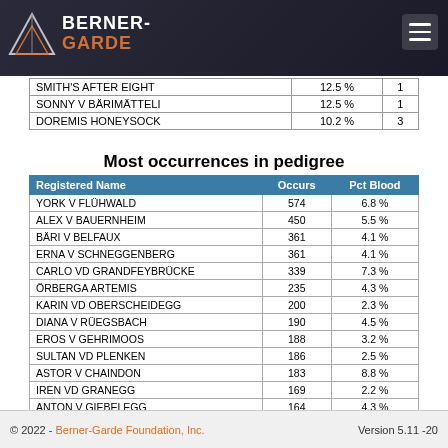Berner-Garde Foundation
|  |  |  |
| --- | --- | --- |
| SMITH'S AFTER EIGHT | 12.5 % | 1 |
| SONNY V BÄRIMÄTTELI | 12.5 % | 1 |
| DOREMIS HONEYSOCK | 10.2 % | 3 |
Most occurrences in pedigree
| Registered Name | Occurs | Pct Blood |
| --- | --- | --- |
| YORK V FLÜHWALD | 574 | 6.8 % |
| ALEX V BAUERNHEIM | 450 | 5.5 % |
| BÄRI V BELFAUX | 361 | 4.1 % |
| ERNA V SCHNEGGENBERG | 361 | 4.1 % |
| CARLO VD GRANDFEYBRÜCKE | 339 | 7.3 % |
| ÖRBERGA ARTEMIS | 235 | 4.3 % |
| KARIN VD OBERSCHEIDEGG | 200 | 2.3 % |
| DIANA V RÜEGSBACH | 190 | 4.5 % |
| EROS V GEHRIMOOS | 188 | 3.2 % |
| SULTAN VD PLENKEN | 186 | 2.5 % |
| ASTOR V CHAINDON | 183 | 8.8 % |
| IREN VD GRANEGG | 169 | 2.2 % |
| ANTON V GIEBELEGG | 164 | 4.3 % |
| GALAN V MÄTTENHOF | 162 | 2.6 % |
| CITA V BALMHOF | 161 | 1.4 % |
© 2022 - Berner-Garde Foundation, Inc.    Version 5.11 -20